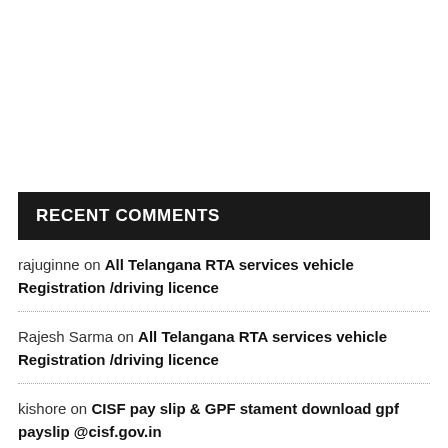RECENT COMMENTS
rajuginne on All Telangana RTA services vehicle Registration /driving licence
Rajesh Sarma on All Telangana RTA services vehicle Registration /driving licence
kishore on CISF pay slip & GPF stament download gpf payslip @cisf.gov.in